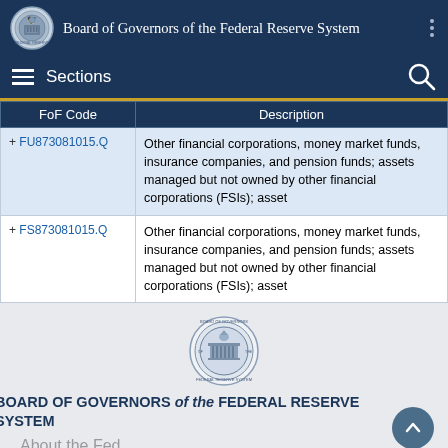Board of Governors of the Federal Reserve System
Sections
| FoF Code | Description |
| --- | --- |
| + FU873081015.Q | Other financial corporations, money market funds, insurance companies, and pension funds; assets managed but not owned by other financial corporations (FSIs); asset |
| + FS873081015.Q | Other financial corporations, money market funds, insurance companies, and pension funds; assets managed but not owned by other financial corporations (FSIs); asset |
[Figure (logo): Federal Reserve Board seal/logo]
BOARD OF GOVERNORS of the FEDERAL RESERVE SYSTEM
About the Fed